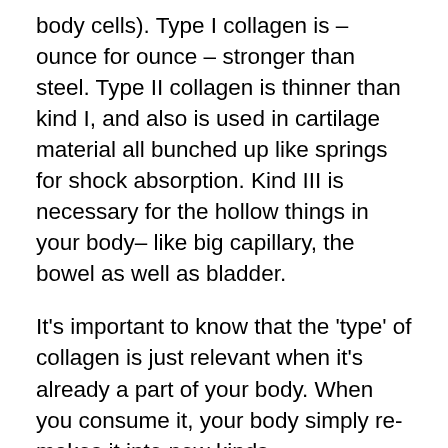body cells). Type I collagen is – ounce for ounce – stronger than steel. Type II collagen is thinner than kind I, and also is used in cartilage material all bunched up like springs for shock absorption. Kind III is necessary for the hollow things in your body– like big capillary, the bowel as well as bladder.
It's important to know that the 'type' of collagen is just relevant when it's already a part of your body. When you consume it, your body simply re-makes it into new kinds.
Collagen is so huge and hard that we can not absorb it 'as is' when we eat it. What we can do however, is 'hydrolyze' the collagen, which implies it's broken down right into a lot smaller sized items (' peptides') by water,